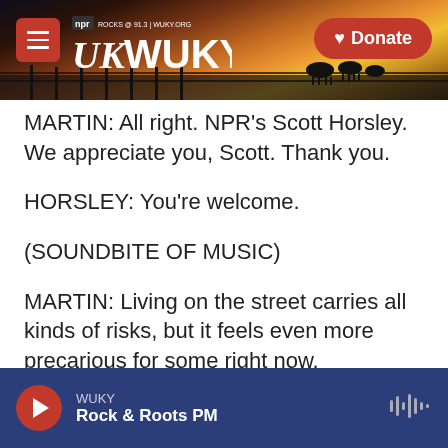[Figure (screenshot): WUKY NPR radio station website header banner with landscape/sunset background image, hamburger menu button, WUKY logo, and red Donate button]
MARTIN: All right. NPR's Scott Horsley. We appreciate you, Scott. Thank you.
HORSLEY: You're welcome.
(SOUNDBITE OF MUSIC)
MARTIN: Living on the street carries all kinds of risks, but it feels even more precarious for some right now.
MARTINEZ: In two of the nation's biggest cities, in less than two weeks, there have been five violent
WUKY
Rock & Roots PM